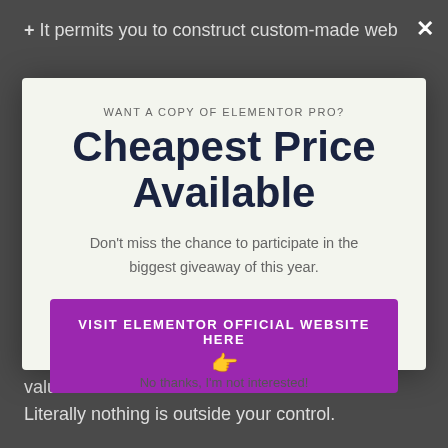+ It permits you to construct custom-made web
WANT A COPY OF ELEMENTOR PRO?
Cheapest Price Available
Don't miss the chance to participate in the biggest giveaway of this year.
VISIT ELEMENTOR OFFICIAL WEBSITE HERE 👈
the positionings, margins and also padding values. Literally nothing is outside your control.
No thanks, I'm not interested!